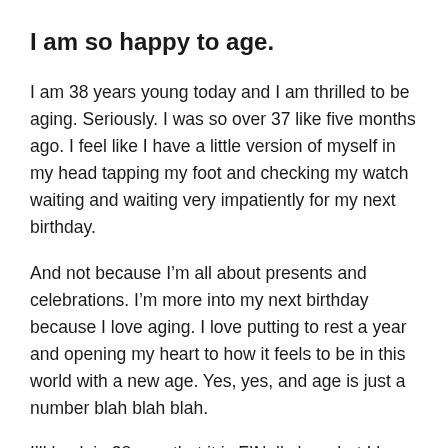I am so happy to age.
I am 38 years young today and I am thrilled to be aging. Seriously. I was so over 37 like five months ago. I feel like I have a little version of myself in my head tapping my foot and checking my watch waiting and waiting very impatiently for my next birthday.
And not because I'm all about presents and celebrations. I'm more into my next birthday because I love aging. I love putting to rest a year and opening my heart to how it feels to be in this world with a new age. Yes, yes, and age is just a number blah blah blah.
I'll bask in 38 now that it is FINally here but I know what will happen: Come January I'll be like, “UGH! Still with 38?